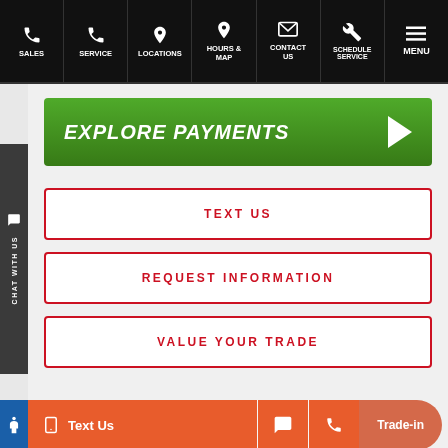SALES | SERVICE | LOCATIONS | HOURS & MAP | CONTACT US | SCHEDULE SERVICE | MENU
[Figure (other): Green 'EXPLORE PAYMENTS' call-to-action button with right-pointing arrow]
TEXT US
REQUEST INFORMATION
VALUE YOUR TRADE
Text Us | [chat icon] | [phone icon] | Trade-in